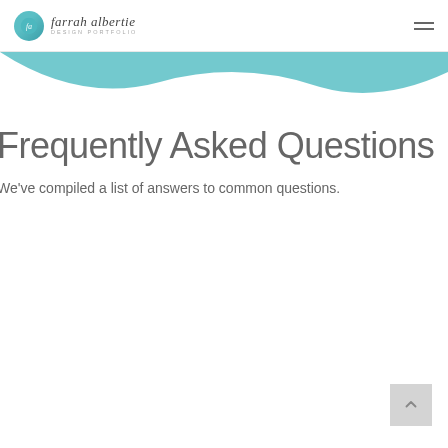farrah albertie — DESIGN PORTFOLIO
Frequently Asked Questions
We've compiled a list of answers to common questions.